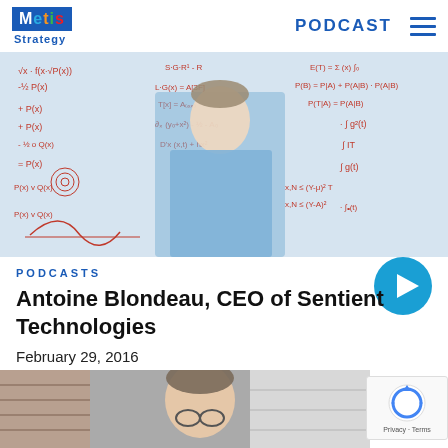Metis Strategy | PODCAST
[Figure (photo): Man in blue shirt standing in front of a whiteboard covered in mathematical equations and formulas]
PODCASTS
Antoine Blondeau, CEO of Sentient Technologies
February 29, 2016
[Figure (photo): Partial view of a man's face, bottom of page preview image]